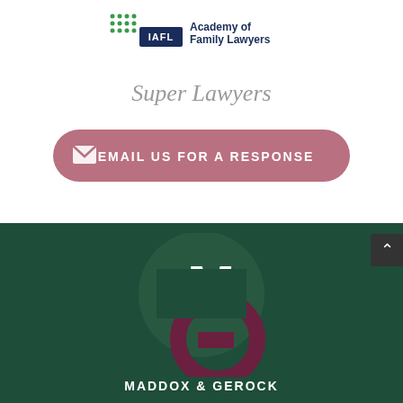[Figure (logo): IAFL - Academy of Family Lawyers logo with dot grid pattern and dark blue badge]
[Figure (logo): Super Lawyers text logo in grey italic serif font]
[Figure (other): Pink/mauve rounded button with envelope icon and text EMAIL US FOR A RESPONSE]
[Figure (logo): Maddox & Gerock law firm logo - white M and dark red G letters in circle on dark green background, with firm name MADDOX & GEROCK below]